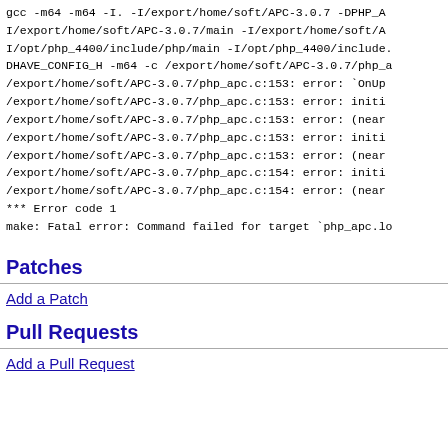gcc -m64 -m64 -I. -I/export/home/soft/APC-3.0.7 -DPHP_A...
I/export/home/soft/APC-3.0.7/main -I/export/home/soft/A...
I/opt/php_4400/include/php/main -I/opt/php_4400/include....
DHAVE_CONFIG_H -m64 -c /export/home/soft/APC-3.0.7/php_...
/export/home/soft/APC-3.0.7/php_apc.c:153: error: `OnUp...
/export/home/soft/APC-3.0.7/php_apc.c:153: error: initi...
/export/home/soft/APC-3.0.7/php_apc.c:153: error: (near...
/export/home/soft/APC-3.0.7/php_apc.c:153: error: initi...
/export/home/soft/APC-3.0.7/php_apc.c:153: error: (near...
/export/home/soft/APC-3.0.7/php_apc.c:154: error: initi...
/export/home/soft/APC-3.0.7/php_apc.c:154: error: (near...
*** Error code 1
make: Fatal error: Command failed for target `php_apc.lo
Patches
Add a Patch
Pull Requests
Add a Pull Request